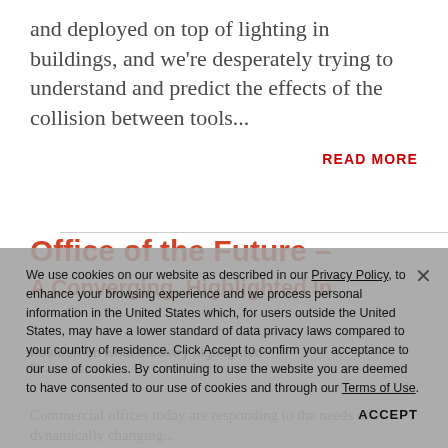and deployed on top of lighting in buildings, and we're desperately trying to understand and predict the effects of the collision between tools...
READ MORE
Office of the Future –
A Converging, Highlighted In...
Position on what industry highlighted In...
Commercial offices today are responding to the needs of a dynamically changing...
We use cookies on our website as described in our Privacy Policy, to enhance your browsing experience and we process personal information in the United States which, for users outside the United States, may have a lower standard of data privacy laws compared to your country of residence. Click Accept to confirm your acceptance to our use of cookies. By continuing to use the website you are deemed to have consented to our use of cookies and through our Terms of Use.
ACCEPT